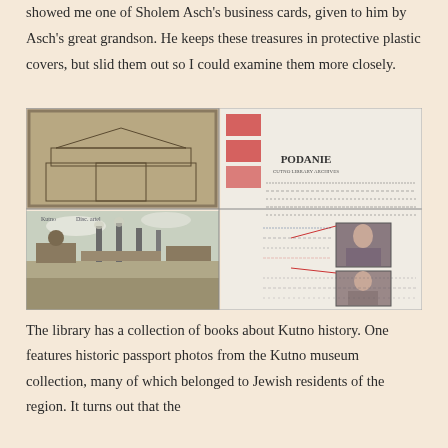showed me one of Sholem Asch's business cards, given to him by Asch's great grandson. He keeps these treasures in protective plastic covers, but slid them out so I could examine them more closely.
[Figure (photo): Four photos arranged in a 2x2 grid. Top-left: pencil sketch of a building facade in a frame. Bottom-left: vintage postcard showing Kutno skyline with chimneys and a church. Right: a Polish document titled 'PODANIE' with handwritten text and two small passport photos embedded.]
The library has a collection of books about Kutno history. One features historic passport photos from the Kutno museum collection, many of which belonged to Jewish residents of the region. It turns out that the